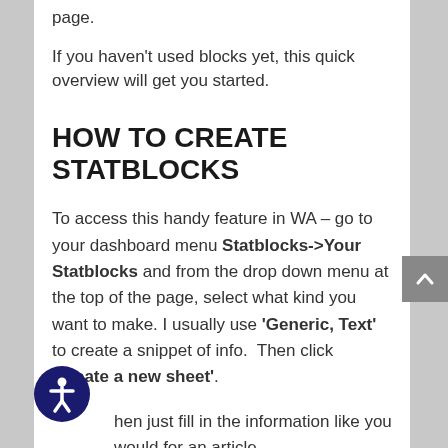page.
If you haven't used blocks yet, this quick overview will get you started.
HOW TO CREATE STATBLOCKS
To access this handy feature in WA – go to your dashboard menu Statblocks->Your Statblocks and from the drop down menu at the top of the page, select what kind you want to make. I usually use 'Generic, Text' to create a snippet of info.  Then click 'Create a new sheet'.
Then just fill in the information like you would for an article.